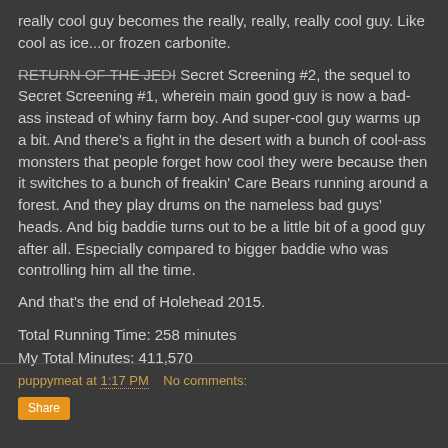really cool guy becomes the really, really, really cool guy. Like cool as ice...or frozen carbonite.
RETURN OF THE JEDI [strikethrough] Secret Screening #2, the sequel to Secret Screening #1, wherein main good guy is now a bad-ass instead of whiny farm boy. And super-cool guy warms up a bit. And there's a fight in the desert with a bunch of cool-ass monsters that people forget how cool they were because then it switches to a bunch of freakin' Care Bears running around a forest. And they play drums on the nameless bad guys' heads. And big baddie turns out to be a little bit of a good guy after all. Especially compared to bigger baddie who was controlling him all the time.
And that's the end of Holehead 2015.
Total Running Time: 258 minutes
My Total Minutes: 411,570
puppymeat at 1:17 PM   No comments: